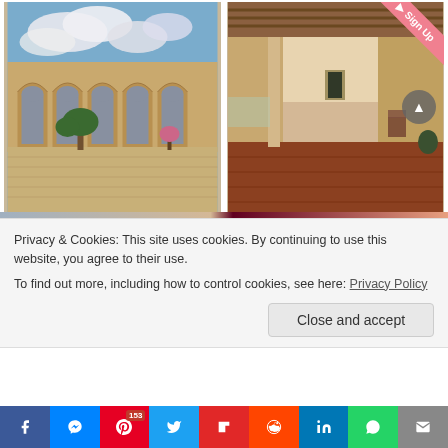[Figure (photo): Courtyard of a historic building with stone arches, cobblestone floor, trees and plants, dramatic cloudy sky]
[Figure (photo): Interior corridor of a historic building with columns, tiled floor, wooden ceiling beams, chairs along the wall, and natural light]
Privacy & Cookies: This site uses cookies. By continuing to use this website, you agree to their use.
To find out more, including how to control cookies, see here: Privacy Policy
Close and accept